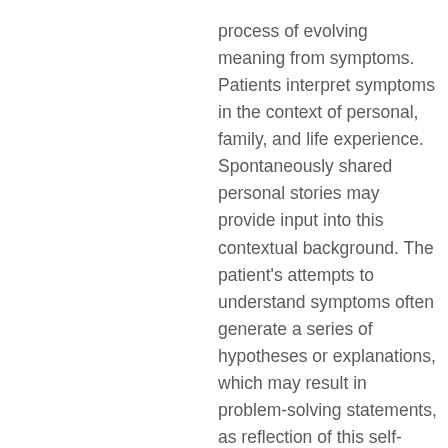process of evolving meaning from symptoms. Patients interpret symptoms in the context of personal, family, and life experience. Spontaneously shared personal stories may provide input into this contextual background. The patient's attempts to understand symptoms often generate a series of hypotheses or explanations, which may result in problem-solving statements, as reflection of this self-diagnostic process. Many of these self-generated hypotheses create concern and anxiety. Patients' emotionally charged expressions may provide an avenue into broader issues of the patient's perspective. Several authors have described the tension that patients experience between wanting to share their perspective and their embarrassment and reluctance to verbalize frightening ideas and feelings. It is our belief that this tension can produce the speech clues first identified by investigators at the University of Western Ontario and frequently observed in our study.
Identifying patients' clues and exploring their underlying meaning can be an efficient means to bring together patients and physicians. The physician's focus on the